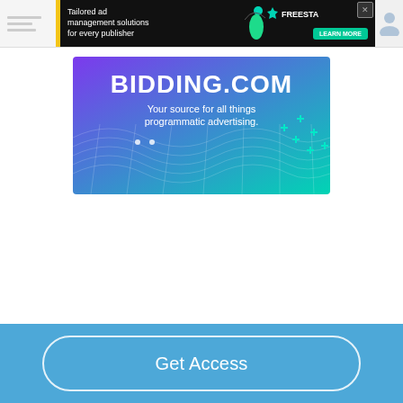[Figure (screenshot): Top navigation bar with hamburger menu lines on white background and yellow vertical stripe]
[Figure (screenshot): Dark banner ad for Freestar: 'Tailored ad management solutions for every publisher' with LEARN MORE button, person illustration and Freestar logo with X close button]
[Figure (screenshot): BIDDING.COM banner ad with purple to teal gradient background, text 'Your source for all things programmatic advertising.' with wireframe wave design and plus icons]
[Figure (screenshot): Blue footer bar with 'Get Access' button in rounded rectangle outline]
Get Access